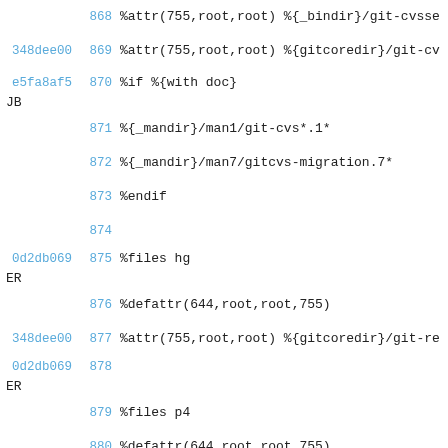868  %attr(755,root,root) %{_bindir}/git-cvsse
348dee00 869  %attr(755,root,root) %{gitcoredir}/git-cv
e5fa8af5 870  %if %{with doc}
JB
871  %{_mandir}/man1/git-cvs*.1*
872  %{_mandir}/man7/gitcvs-migration.7*
873  %endif
874
0d2db069 875  %files hg
ER
876  %defattr(644,root,root,755)
348dee00 877  %attr(755,root,root) %{gitcoredir}/git-re
0d2db069 878
ER
879  %files p4
880  %defattr(644,root,root,755)
348dee00 881  %attr(755,root,root) %{gitcoredir}/git-p4
ER
882  %attr(755,root,root) %{gitcoredir}/merget
cfe5bf90 883  %if %{with doc}